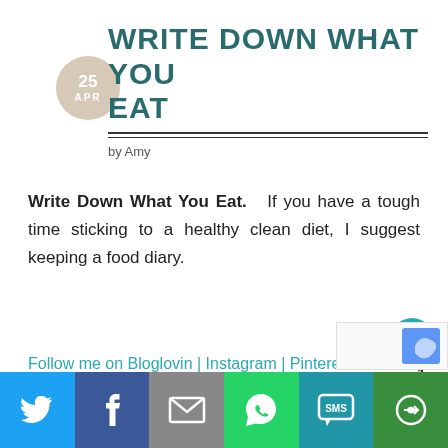WRITE DOWN WHAT YOU EAT
by Amy
Write Down What You Eat. If you have a tough time sticking to a healthy clean diet, I suggest keeping a food diary.
Follow me on Bloglovin | Instagram | Pinterest | Twitter